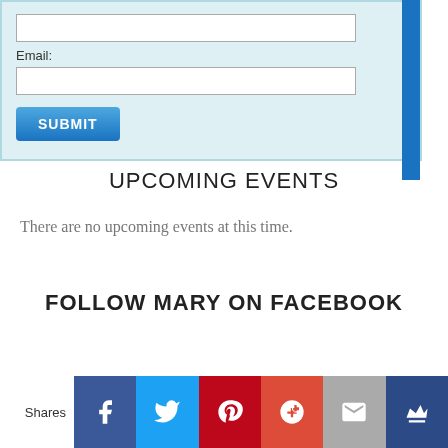[Figure (screenshot): Web form with a text input field, an Email label, another text input field, and a blue SUBMIT button, on a light blue background]
UPCOMING EVENTS
There are no upcoming events at this time.
FOLLOW MARY ON FACEBOOK
[Figure (infographic): Social sharing bar with Shares label and icons for Facebook, Twitter, Pinterest, Google+, Email, and a crown/bookmark icon]